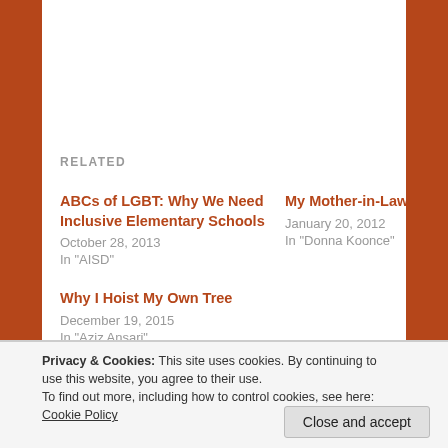RELATED
ABCs of LGBT: Why We Need Inclusive Elementary Schools
October 28, 2013
In "AISD"
My Mother-in-Law
January 20, 2012
In "Donna Koonce"
Why I Hoist My Own Tree
December 19, 2015
In "Aziz Ansari"
Privacy & Cookies: This site uses cookies. By continuing to use this website, you agree to their use.
To find out more, including how to control cookies, see here: Cookie Policy
Close and accept